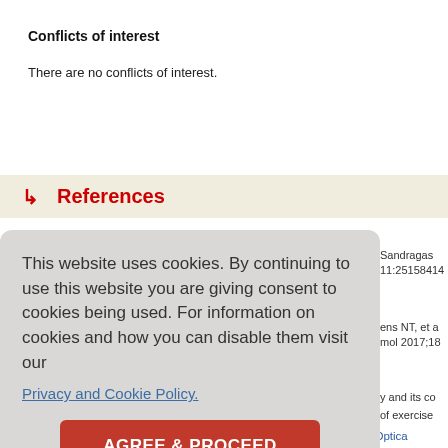Conflicts of interest
There are no conflicts of interest.
References
This website uses cookies. By continuing to use this website you are giving consent to cookies being used. For information on cookies and how you can disable them visit our Privacy and Cookie Policy. AGREE & PROCEED
Sandragas... 11:25158414
ens NT, et a mol 2017;18
y and its co
of exercise
5     Ye Kim S, Samsun O, Padinjialli A, Jung C, Misra A, Sevied EU, Optica…